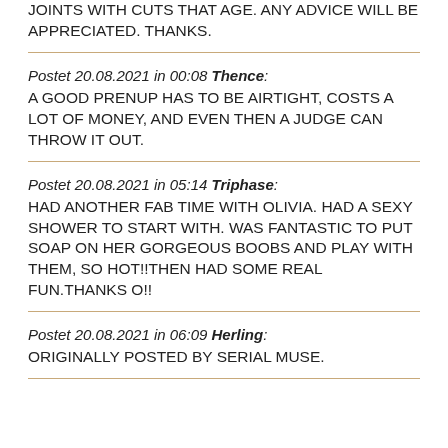JOINTS WITH CUTS THAT AGE. ANY ADVICE WILL BE APPRECIATED. THANKS.
Postet 20.08.2021 in 00:08 Thence:
A GOOD PRENUP HAS TO BE AIRTIGHT, COSTS A LOT OF MONEY, AND EVEN THEN A JUDGE CAN THROW IT OUT.
Postet 20.08.2021 in 05:14 Triphase:
HAD ANOTHER FAB TIME WITH OLIVIA. HAD A SEXY SHOWER TO START WITH. WAS FANTASTIC TO PUT SOAP ON HER GORGEOUS BOOBS AND PLAY WITH THEM, SO HOT!!THEN HAD SOME REAL FUN.THANKS O!!
Postet 20.08.2021 in 06:09 Herling:
ORIGINALLY POSTED BY SERIAL MUSE.